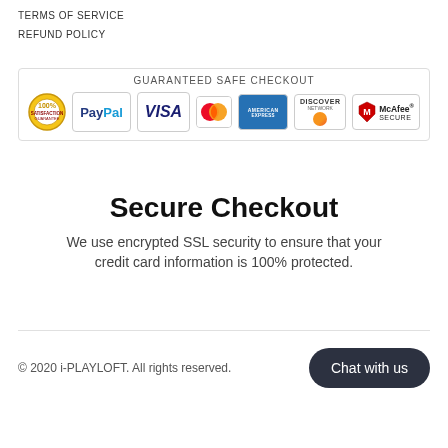TERMS OF SERVICE
REFUND POLICY
[Figure (infographic): Guaranteed Safe Checkout badge with payment icons: 100% Satisfaction, PayPal, VISA, MasterCard, American Express, Discover, McAfee Secure]
Secure Checkout
We use encrypted SSL security to ensure that your credit card information is 100% protected.
© 2020 i-PLAYLOFT. All rights reserved.